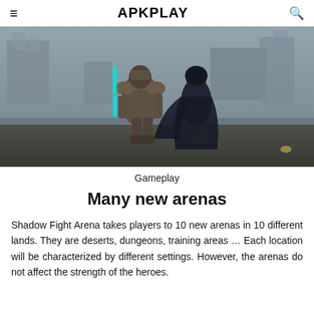≡  APKPLAY  🔍
[Figure (screenshot): Gameplay screenshot from Shadow Fight Arena showing two armored characters fighting in a dark, misty stone arena. One character has a glowing cyan sword.]
Gameplay
Many new arenas
Shadow Fight Arena takes players to 10 new arenas in 10 different lands. They are deserts, dungeons, training areas … Each location will be characterized by different settings. However, the arenas do not affect the strength of the heroes.